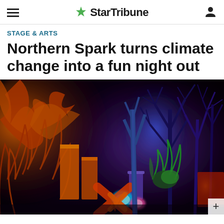StarTribune
STAGE & ARTS
Northern Spark turns climate change into a fun night out
[Figure (photo): Night art installation with colorful lights illuminating plants, bare tree branches, orange rectangular structures, glowing blue/pink objects, against a dark background]